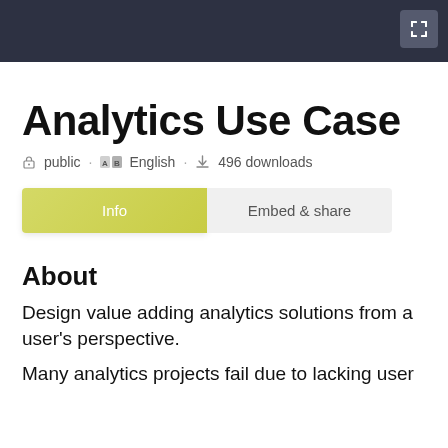Analytics Use Case
public · English · 496 downloads
Info | Embed & share
About
Design value adding analytics solutions from a user's perspective.
Many analytics projects fail due to lacking user